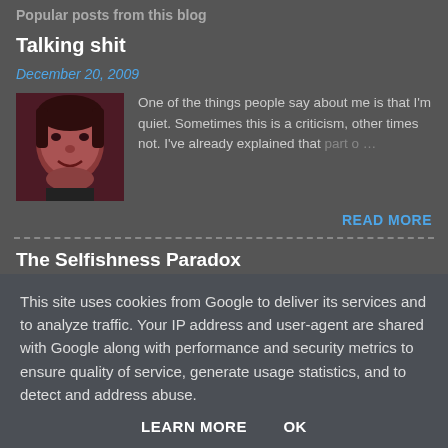Popular posts from this blog
Talking shit
December 20, 2009
[Figure (photo): Thumbnail photo of a man with a reddish tint, close-up face shot]
One of the things people say about me is that I'm quiet. Sometimes this is a criticism, other times not. I've already explained that part o...
READ MORE
The Selfishness Paradox
This site uses cookies from Google to deliver its services and to analyze traffic. Your IP address and user-agent are shared with Google along with performance and security metrics to ensure quality of service, generate usage statistics, and to detect and address abuse.
LEARN MORE   OK